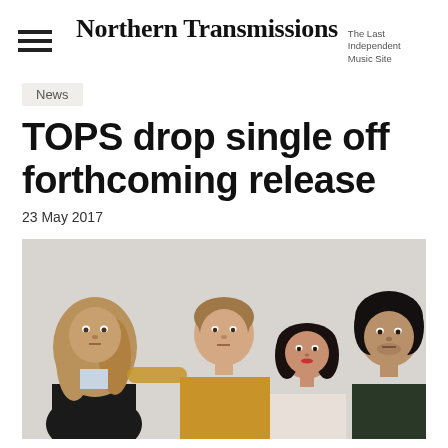Northern Transmissions — The Last Independent Music Site
News
TOPS drop single off forthcoming release
23 May 2017
[Figure (photo): Band photo of TOPS — four young people standing close together against a light grey background. From left: person with long blonde-brown hair wearing a dark jacket; tall person in a mustard/yellow jacket; shorter person with dark bob haircut; person with dark curly hair on the right.]